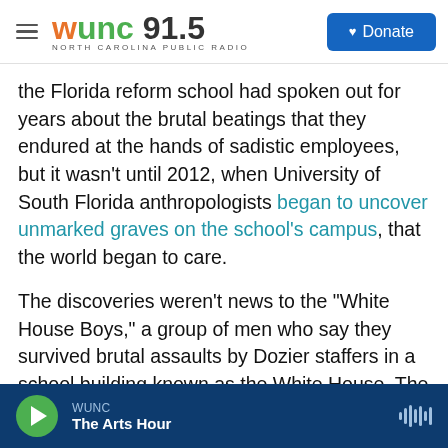WUNC 91.5 NORTH CAROLINA PUBLIC RADIO | Donate
the Florida reform school had spoken out for years about the brutal beatings that they endured at the hands of sadistic employees, but it wasn't until 2012, when University of South Florida anthropologists began to uncover unmarked graves on the school's campus, that the world began to care.
The discoveries weren't news to the "White House Boys," a group of men who say they survived brutal assaults by Dozier staffers in a school building known as the White House. The men had raised the alarm for years, but their testimonies were
WUNC | The Arts Hour